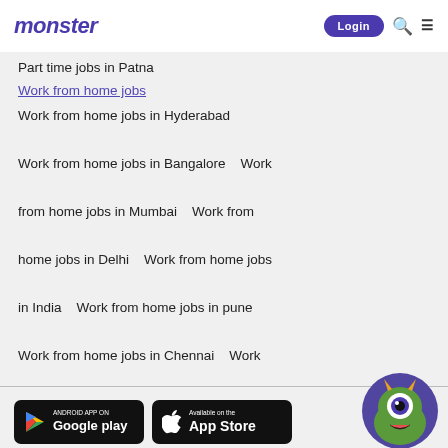monster | Login
Part time jobs in Patna
Work from home jobs
Work from home jobs in Hyderabad  Work from home jobs in Bangalore  Work from home jobs in Mumbai  Work from home jobs in Delhi  Work from home jobs in India  Work from home jobs in pune  Work from home jobs in Chennai  Work from home jobs in Kolkata  Work from home jobs in Coimbatore  Work from home jobs in Ahmedabad
[Figure (logo): Google Play store badge]
[Figure (logo): Apple App Store badge]
[Figure (illustration): Monster mascot character - green cyclops monster with horns on purple circle background]